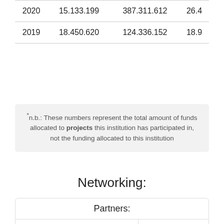| 2020 | 15.133.199 | 387.311.612 | 26.4 |
| 2019 | 18.450.620 | 124.336.152 | 18.9 |
*n.b.: These numbers represent the total amount of funds allocated to projects this institution has participated in, not the funding allocated to this institution
Networking:
| Partners: |  |
| --- | --- |
| Institution: | Projects [No]: |